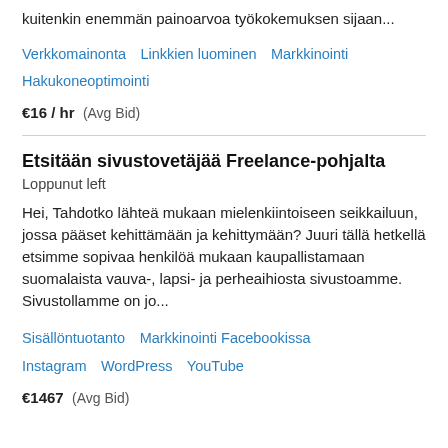kuitenkin enemmän painoarvoa työkokemuksen sijaan...
Verkkomainonta   Linkkien luominen   Markkinointi   Hakukoneoptimointi
€16 / hr   (Avg Bid)
Etsitään sivustovetäjää Freelance-pohjalta
Loppunut left
Hei, Tahdotko lähteä mukaan mielenkiintoiseen seikkailuun, jossa pääset kehittämään ja kehittymään? Juuri tällä hetkellä etsimme sopivaa henkilöä mukaan kaupallistamaan suomalaista vauva-, lapsi- ja perheaihiosta sivustoamme. Sivustollamme on jo...
Sisällöntuotanto   Markkinointi Facebookissa   Instagram   WordPress   YouTube
€1467   (Avg Bid)